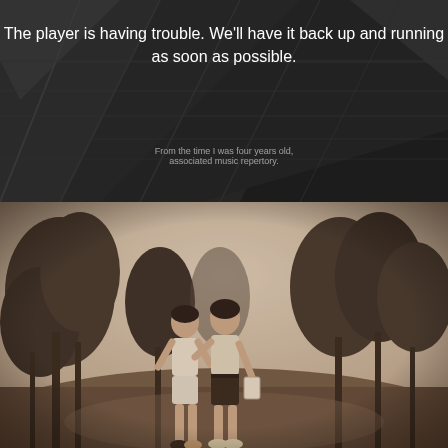[Figure (screenshot): Video player error screen showing dark background with diagonal abstract shapes, displaying an error message overlay. Text reads: 'The player is having trouble. We'll have it back up and running as soon as possible.' A faint overlay caption reads 'From the time I was four years old, associated music repertory.']
[Figure (photo): Vintage sepia/black-and-white photograph of two people standing outdoors among pine trees. Both are wearing shorts and short-sleeved shirts. One person on the right is holding a bag. They appear to be posing together on a path or open ground.]